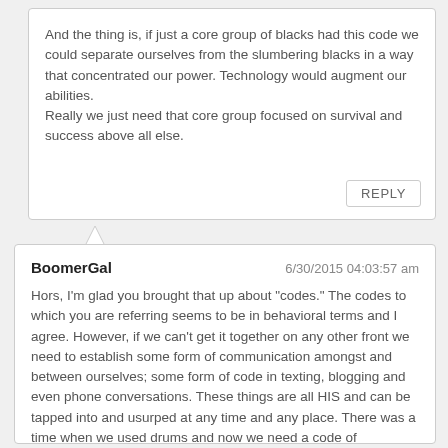And the thing is, if just a core group of blacks had this code we could separate ourselves from the slumbering blacks in a way that concentrated our power. Technology would augment our abilities.
Really we just need that core group focused on survival and success above all else.
REPLY
BoomerGal    6/30/2015 04:03:57 am
Hors, I'm glad you brought that up about "codes." The codes to which you are referring seems to be in behavioral terms and I agree. However, if we can't get it together on any other front we need to establish some form of communication amongst and between ourselves; some form of code in texting, blogging and even phone conversations. These things are all HIS and can be tapped into and usurped at any time and any place. There was a time when we used drums and now we need a code of communication; we can't plan anything in the kind of environment we live in; this is his land and his country. We've got to be smarter in our strategy and I think it starts